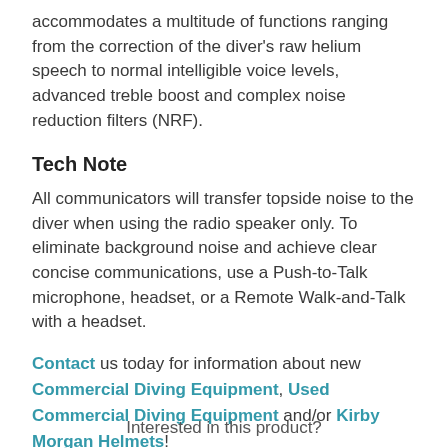accommodates a multitude of functions ranging from the correction of the diver's raw helium speech to normal intelligible voice levels, advanced treble boost and complex noise reduction filters (NRF).
Tech Note
All communicators will transfer topside noise to the diver when using the radio speaker only. To eliminate background noise and achieve clear concise communications, use a Push-to-Talk microphone, headset, or a Remote Walk-and-Talk with a headset.
Contact us today for information about new Commercial Diving Equipment, Used Commercial Diving Equipment and/or Kirby Morgan Helmets!
Interested in this product?